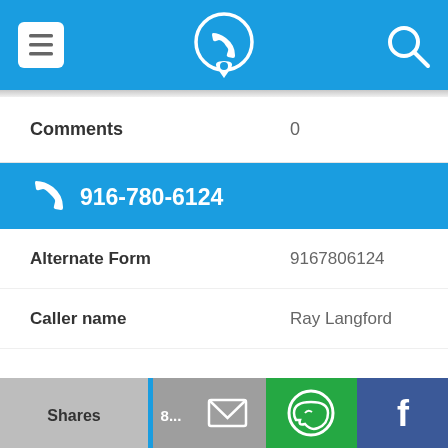[Figure (screenshot): Top navigation bar with menu icon (hamburger), phone app logo (circle with phone and location pin), and search icon on blue background]
Comments	0
[Figure (screenshot): Blue bar with phone icon and number 916-780-6124]
Alternate Form	9167806124
Caller name	Ray Langford
Last User Search	No searches yet
Comments	0
[Figure (screenshot): Bottom action bar with Shares tab, blue divider, number, email icon (grey), WhatsApp icon (green), Facebook icon (dark blue)]